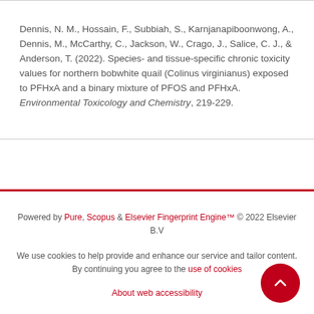Dennis, N. M., Hossain, F., Subbiah, S., Karnjanapiboonwong, A., Dennis, M., McCarthy, C., Jackson, W., Crago, J., Salice, C. J., & Anderson, T. (2022). Species- and tissue-specific chronic toxicity values for northern bobwhite quail (Colinus virginianus) exposed to PFHxA and a binary mixture of PFOS and PFHxA. Environmental Toxicology and Chemistry, 219-229.
Powered by Pure, Scopus & Elsevier Fingerprint Engine™ © 2022 Elsevier B.V
We use cookies to help provide and enhance our service and tailor content. By continuing you agree to the use of cookies
About web accessibility